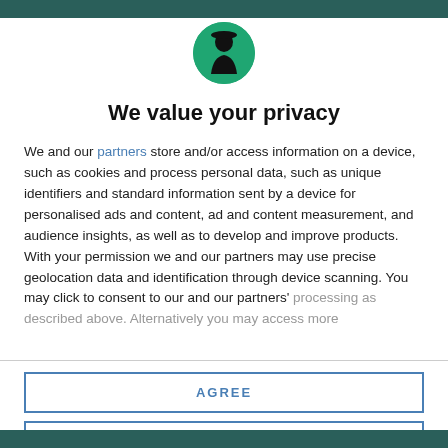[Figure (logo): Circular green logo with a black silhouette figure (person with a hat, facing right) centered on the page]
We value your privacy
We and our partners store and/or access information on a device, such as cookies and process personal data, such as unique identifiers and standard information sent by a device for personalised ads and content, ad and content measurement, and audience insights, as well as to develop and improve products. With your permission we and our partners may use precise geolocation data and identification through device scanning. You may click to consent to our and our partners' processing as described above. Alternatively you may access more
AGREE
MORE OPTIONS